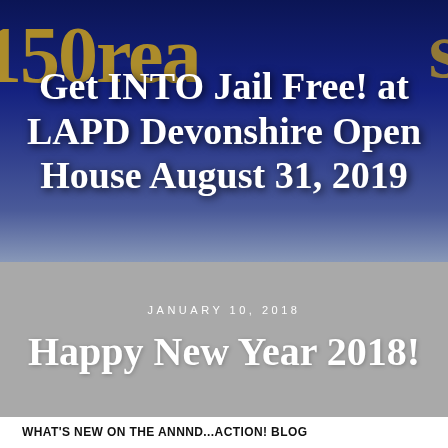[Figure (illustration): Dark blue banner background with decorative golden text elements partially visible on left and right edges]
Get INTO Jail Free! at LAPD Devonshire Open House August 31, 2019
JANUARY 10, 2018
Happy New Year 2018!
WHAT'S NEW ON THE ANNND...ACTION! BLOG
Visit Annnd...Action! at a Coachella-style Event for Families!